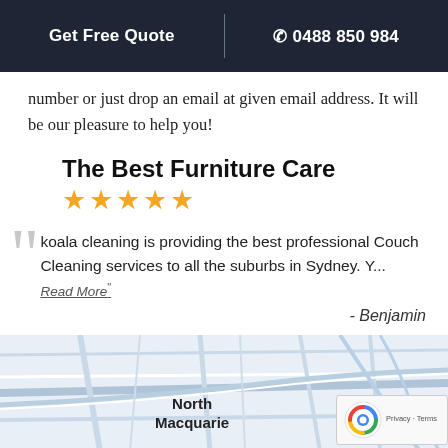Get Free Quote | 0488 850 984
number or just drop an email at given email address. It will be our pleasure to help you!
The Best Furniture Care
★★★★★
Koala cleaning is providing the best professional Couch Cleaning services to all the suburbs in Sydney. Y...
Read More"
- Benjamin
[Figure (map): Map showing North Macquarie area with road network overlay]